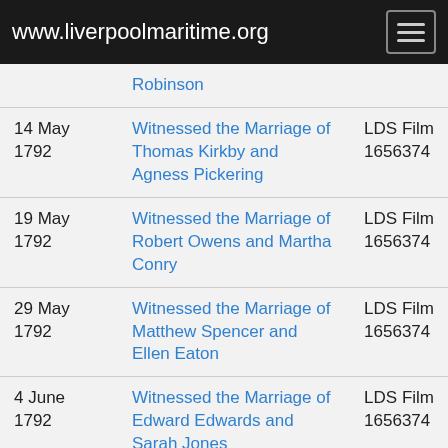www.liverpoolmaritime.org
| Date | Event | Source |
| --- | --- | --- |
|  | Robinson |  |
| 14 May 1792 | Witnessed the Marriage of Thomas Kirkby and Agness Pickering | LDS Film 1656374 |
| 19 May 1792 | Witnessed the Marriage of Robert Owens and Martha Conry | LDS Film 1656374 |
| 29 May 1792 | Witnessed the Marriage of Matthew Spencer and Ellen Eaton | LDS Film 1656374 |
| 4 June 1792 | Witnessed the Marriage of Edward Edwards and Sarah Jones | LDS Film 1656374 |
| 1 July | Witnessed the Marriage of | LDS Film |